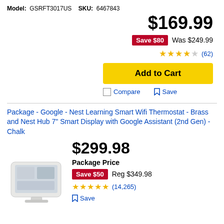Model: GSRFT3017US  SKU: 6467843
$169.99
Save $80  Was $249.99
★★★★☆ (62)
Add to Cart
Compare  Save
Package - Google - Nest Learning Smart Wifi Thermostat - Brass and Nest Hub 7" Smart Display with Google Assistant (2nd Gen) - Chalk
$299.98
Package Price
Save $50  Reg $349.98
★★★★★ (14,265)
Save